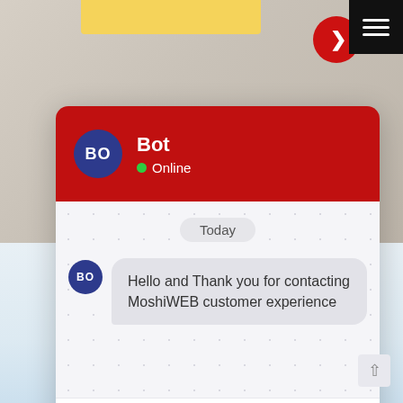[Figure (screenshot): Wood texture background at top of page]
[Figure (screenshot): Seafood Bistro restaurant background at bottom of page]
[Figure (screenshot): Chat widget showing a Bot named 'Bot' with status Online, message 'Hello and Thank you for contacting MoshiWEB customer experience', and a message input field with placeholder 'Write a message...']
Bot
Online
Today
Hello and Thank you for contacting MoshiWEB customer experience
Write a message...
SEAFOOD BISTRO